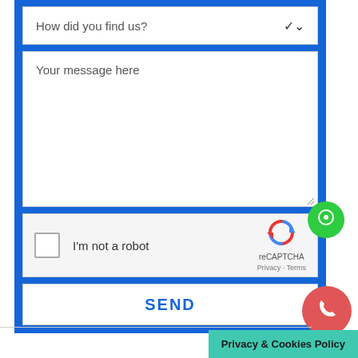[Figure (screenshot): Web contact form with dropdown 'How did you find us?', message textarea, reCAPTCHA checkbox, and SEND button. Overlaid with a green chat bubble button and a red phone button. A teal Privacy & Cookies Policy bar appears at the bottom right.]